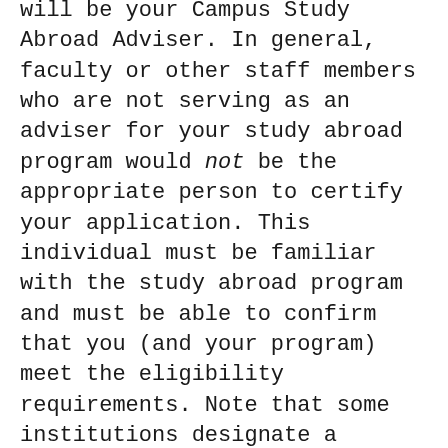will be your Campus Study Abroad Adviser. In general, faculty or other staff members who are not serving as an adviser for your study abroad program would not be the appropriate person to certify your application. This individual must be familiar with the study abroad program and must be able to confirm that you (and your program) meet the eligibility requirements. Note that some institutions designate a specific individual to certify scholarship applications.
4. Contact your Financial Aid Adviser to review and understand your projected financial aid for your study abroad program. This individual should be from